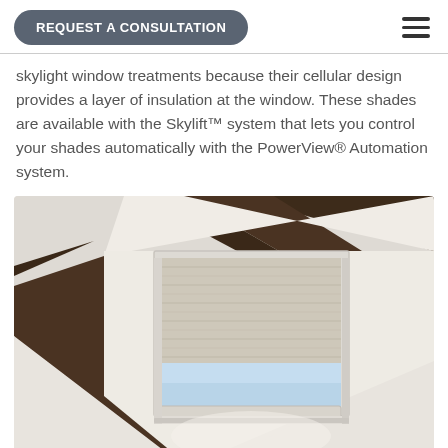REQUEST A CONSULTATION
skylight window treatments because their cellular design provides a layer of insulation at the window. These shades are available with the Skylift™ system that lets you control your shades automatically with the PowerView® Automation system.
[Figure (photo): Interior photo looking up at a ceiling with dark wood beams and a skylight fitted with a beige/cream cellular honeycomb shade partially open, revealing a small section of blue sky.]